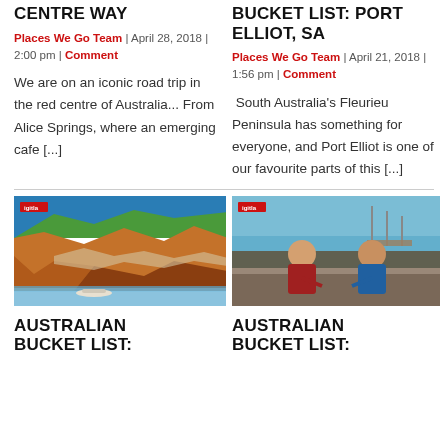CENTRE WAY
Places We Go Team | April 28, 2018 | 2:00 pm | Comment
We are on an iconic road trip in the red centre of Australia... From Alice Springs, where an emerging cafe [...]
BUCKET LIST: PORT ELLIOT, SA
Places We Go Team | April 21, 2018 | 1:56 pm | Comment
South Australia's Fleurieu Peninsula has something for everyone, and Port Elliot is one of our favourite parts of this [...]
[Figure (photo): Red cliffs and river landscape with a small boat on the water below, blue sky above]
[Figure (photo): Two people sitting on a boat on a waterway, one in a red shirt and one in a blue shirt]
AUSTRALIAN BUCKET LIST:
AUSTRALIAN BUCKET LIST: